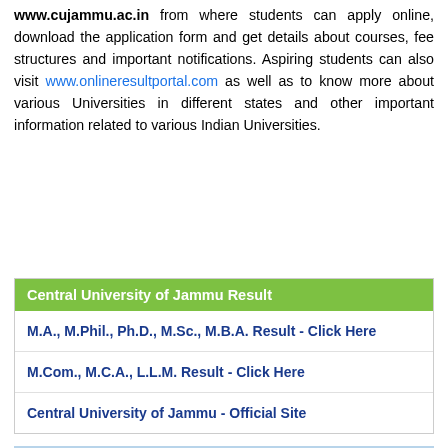www.cujammu.ac.in from where students can apply online, download the application form and get details about courses, fee structures and important notifications. Aspiring students can also visit www.onlineresultportal.com as well as to know more about various Universities in different states and other important information related to various Indian Universities.
Central University of Jammu Result
M.A., M.Phil., Ph.D., M.Sc., M.B.A. Result - Click Here
M.Com., M.C.A., L.L.M. Result - Click Here
Central University of Jammu - Official Site
[Figure (photo): Photograph of the Central University of Jammu building with a sign reading CENTRAL UNIVERSITY OF JAMMU TEMPORARY ACADEMIC BLOCK]